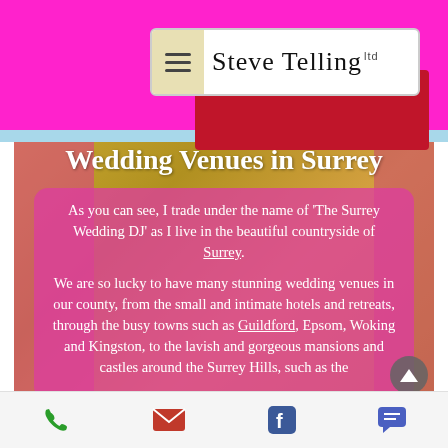[Figure (screenshot): Mobile website screenshot for Steve Telling Ltd, a Surrey wedding DJ business. Header shows magenta/pink bar with hamburger menu icon and cursive 'Steve Telling ltd' logo in a white rounded rectangle. Main content shows a wedding venue image with pink overlay containing text about Wedding Venues in Surrey.]
Wedding Venues in Surrey
As you can see, I trade under the name of 'The Surrey Wedding DJ' as I live in the beautiful countryside of Surrey.
We are so lucky to have many stunning wedding venues in our county, from the small and intimate hotels and retreats, through the busy towns such as Guildford, Epsom, Woking and Kingston, to the lavish and gorgeous mansions and castles around the Surrey Hills, such as the
Phone | Email | Facebook | Chat